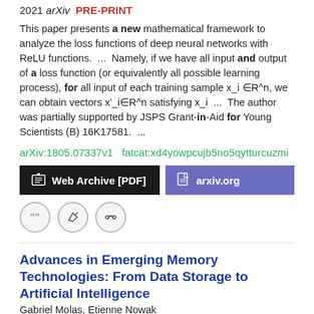2018 arXiv PRE-PRINT
This paper presents a new mathematical framework to analyze the loss functions of deep neural networks with ReLU functions.  ...  Namely, if we have all input and output of a loss function (or equivalently all possible learning process), for all input of each training sample x_i ∈R^n, we can obtain vectors x'_i∈R^n satisfying x_i  ...  The author was partially supported by JSPS Grant-in-Aid for Young Scientists (B) 16K17581.  ...
arXiv:1805.07337v1  fatcat:xd4yowpcujb5no5qytturcuzmi
[Figure (other): Web Archive [PDF] and arxiv.org buttons, plus citation/edit/link icon circles]
Advances in Emerging Memory Technologies: From Data Storage to Artificial Intelligence
Gabriel Molas, Etienne Nowak
2021 Applied Sciences
Then, the progress of emerging memory technologies (based on filamentary, phase change, magnetic, and ferroelectric mechanisms) is presented with a review of the major demonstrations in the